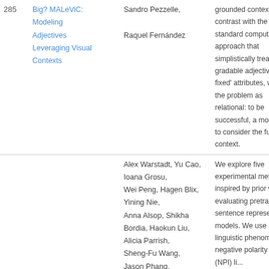| # | Title | Authors | Abstract |
| --- | --- | --- | --- |
| 285 | Big? MALeViC: Modeling Adjectives Leveraging Visual Contexts | Sandro Pezzelle, Raquel Fernández | grounded contexts. In contrast with the standard computational approach that simplistically treats gradable adjectives as fixed' attributes, we pose the problem as relational: to be successful, a model has to consider the full visual context. |
| 286 | Investigating BERT's Knowledge of Language: Five Analysis Methods with NPIs | Alex Warstadt, Yu Cao, Ioana Grosu, Wei Peng, Hagen Blix, Yining Nie, Anna Alsop, Shikha Bordia, Haokun Liu, Alicia Parrish, Sheng-Fu Wang, Jason Phang, | We explore five experimental methods inspired by prior work evaluating pretrained sentence representation models. We use a single linguistic phenomenon, negative polarity item (NPI) li... |